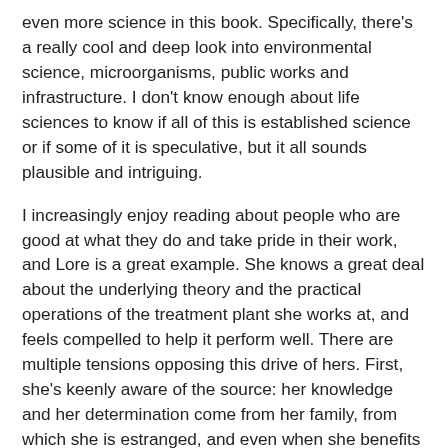even more science in this book. Specifically, there's a really cool and deep look into environmental science, microorganisms, public works and infrastructure. I don't know enough about life sciences to know if all of this is established science or if some of it is speculative, but it all sounds plausible and intriguing.
I increasingly enjoy reading about people who are good at what they do and take pride in their work, and Lore is a great example. She knows a great deal about the underlying theory and the practical operations of the treatment plant she works at, and feels compelled to help it perform well. There are multiple tensions opposing this drive of hers. First, she's keenly aware of the source: her knowledge and her determination come from her family, from which she is estranged, and even when she benefits from that association she's simultaneously brought down by the reminder of her past. She's also constrained by her secret identity: she can't seem to be too good, or know too much, lest she ruin her disguise and expose herself to dire consequences.